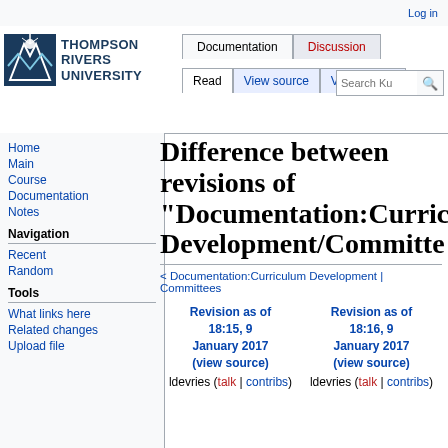Log in
[Figure (logo): Thompson Rivers University logo with stylized mountain/wave icon and bold text THOMPSON RIVERS UNIVERSITY]
Documentation | Discussion | Read | View source | View history | Search Ku
Home
Main
Course
Documentation
Notes
Navigation
Recent
Random
Tools
What links here
Related changes
Upload file
Difference between revisions of "Documentation:Curriculum Development/Committees
< Documentation:Curriculum Development | Committees
| Revision as of 18:15, 9 January 2017 (view source) | Revision as of 18:16, 9 January 2017 (view source) |
| --- | --- |
| ldevries (talk | contribs) | ldevries (talk | contribs) |